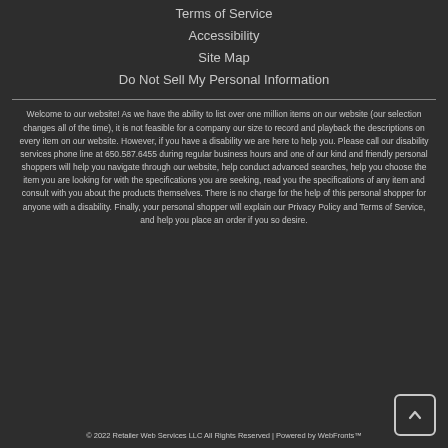Terms of Service
Accessibility
Site Map
Do Not Sell My Personal Information
Welcome to our website! As we have the ability to list over one million items on our website (our selection changes all of the time), it is not feasible for a company our size to record and playback the descriptions on every item on our website. However, if you have a disability we are here to help you. Please call our disability services phone line at 650.587.6455 during regular business hours and one of our kind and friendly personal shoppers will help you navigate through our website, help conduct advanced searches, help you choose the item you are looking for with the specifications you are seeking, read you the specifications of any item and consult with you about the products themselves. There is no charge for the help of this personal shopper for anyone with a disability. Finally, your personal shopper will explain our Privacy Policy and Terms of Service, and help you place an order if you so desire.
© 2022 Retailer Web Services LLC All Rights Reserved | Powered by WebFronts™